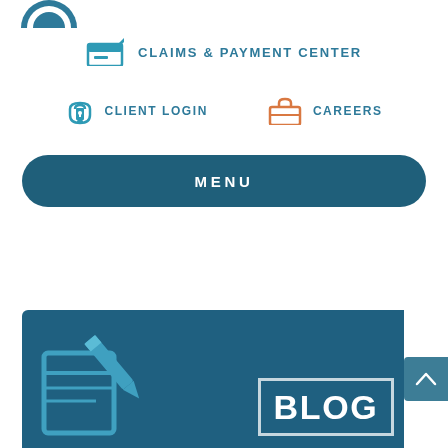[Figure (logo): Partial circular logo icon at top left (blue/teal)]
CLAIMS & PAYMENT CENTER
CLIENT LOGIN   CAREERS
MENU
[Figure (illustration): Dark teal blog banner with pencil/notepad icon on left and BLOG text box on right, partial view at bottom of page]